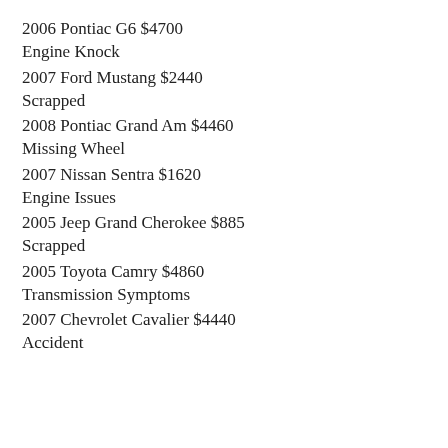2006 Pontiac G6 $4700
Engine Knock
2007 Ford Mustang $2440
Scrapped
2008 Pontiac Grand Am $4460
Missing Wheel
2007 Nissan Sentra $1620
Engine Issues
2005 Jeep Grand Cherokee $885
Scrapped
2005 Toyota Camry $4860
Transmission Symptoms
2007 Chevrolet Cavalier $4440
Accident